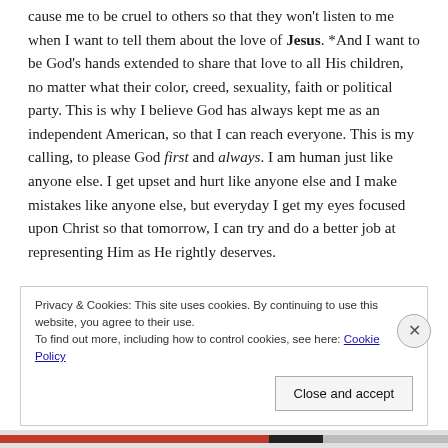cause me to be cruel to others so that they won't listen to me when I want to tell them about the love of Jesus. *And I want to be God's hands extended to share that love to all His children, no matter what their color, creed, sexuality, faith or political party. This is why I believe God has always kept me as an independent American, so that I can reach everyone. This is my calling, to please God first and always. I am human just like anyone else. I get upset and hurt like anyone else and I make mistakes like anyone else, but everyday I get my eyes focused upon Christ so that tomorrow, I can try and do a better job at representing Him as He rightly deserves.
Privacy & Cookies: This site uses cookies. By continuing to use this website, you agree to their use. To find out more, including how to control cookies, see here: Cookie Policy